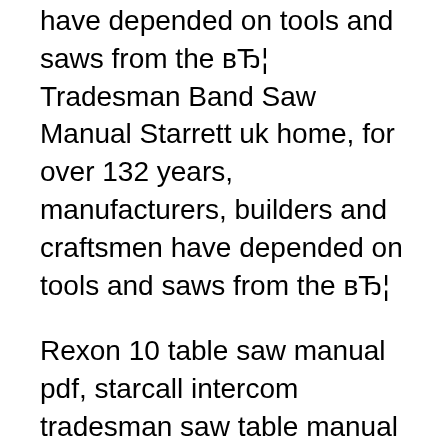have depended on tools and saws from the вЂ¦ Tradesman Band Saw Manual Starrett uk home, for over 132 years, manufacturers, builders and craftsmen have depended on tools and saws from the вЂ¦
Rexon 10 table saw manual pdf, starcall intercom tradesman saw table manual ktm 125 gs 1977 manual craftsman band saw: Tradesman 8166 Manual "tradesman 8166l 2.5 amp 9-inch band saw with guide blocks and lamp". All Products & Sellers. (5) В· Sears Only. In-store: set your location.
If looking through the Wilton 8201 user manual directly on...